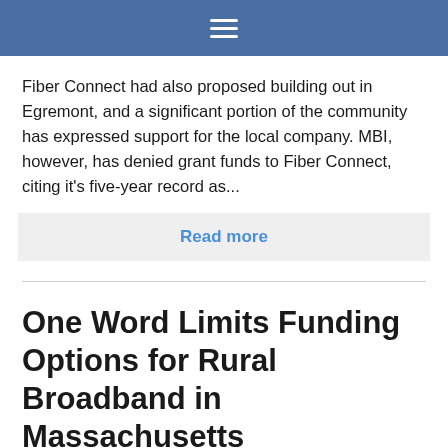≡
Fiber Connect had also proposed building out in Egremont, and a significant portion of the community has expressed support for the local company. MBI, however, has denied grant funds to Fiber Connect, citing it's five-year record as...
Read more
One Word Limits Funding Options for Rural Broadband in Massachusetts
Posted August 10, 2018 by Lisa Gonzalez